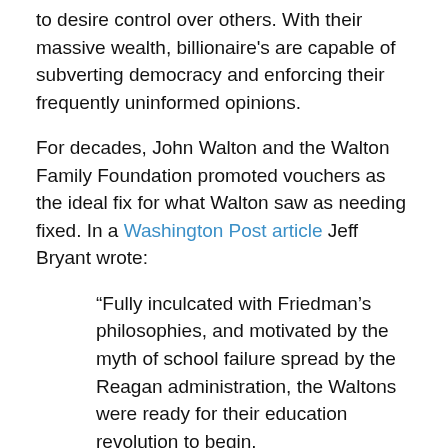to desire control over others. With their massive wealth, billionaire's are capable of subverting democracy and enforcing their frequently uninformed opinions.
For decades, John Walton and the Walton Family Foundation promoted vouchers as the ideal fix for what Walton saw as needing fixed. In a Washington Post article Jeff Bryant wrote:
“Fully inculcated with Friedman’s philosophies, and motivated by the myth of school failure spread by the Reagan administration, the Waltons were ready for their education revolution to begin.
“John Walton launched the foundation’s battle for school choice by throwing both money and influence into a succession of voucher referendums throughout the 1990s and beyond — only to see the cause